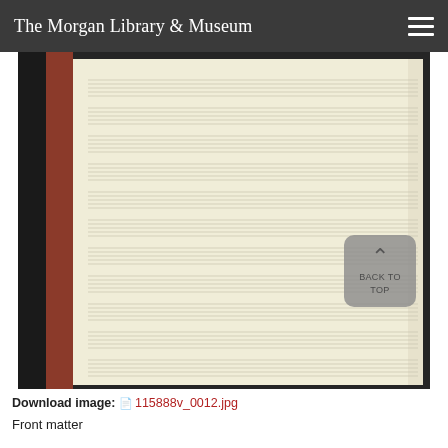The Morgan Library & Museum
[Figure (photo): Photograph of an open manuscript book showing blank music staff lines on aged cream/yellowish paper, set against a dark background. The page shows many horizontal ruled lines grouped in sets of five (music staves) across the entire visible page, with no musical notation written on them.]
Download image: 115888v_0012.jpg
Front matter